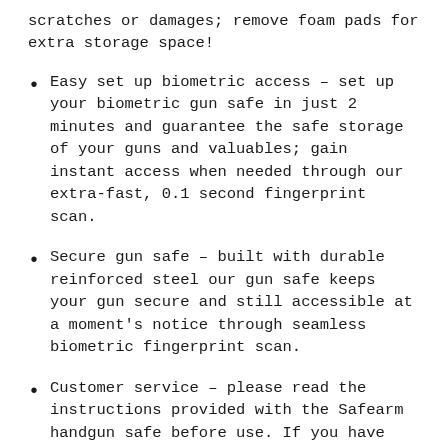scratches or damages; remove foam pads for extra storage space!
Easy set up biometric access – set up your biometric gun safe in just 2 minutes and guarantee the safe storage of your guns and valuables; gain instant access when needed through our extra-fast, 0.1 second fingerprint scan.
Secure gun safe – built with durable reinforced steel our gun safe keeps your gun secure and still accessible at a moment's notice through seamless biometric fingerprint scan.
Customer service – please read the instructions provided with the Safearm handgun safe before use. If you have any questions or issues, please don't hesitate to send the seller a message